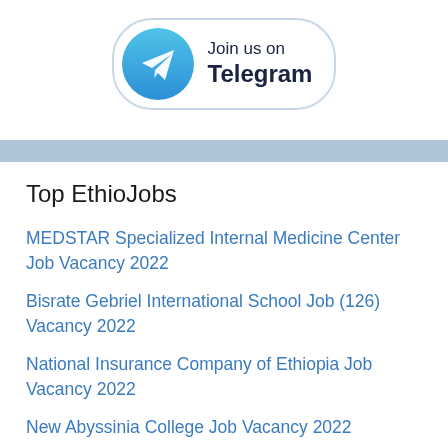[Figure (logo): Join us on Telegram button with Telegram logo circle (blue gradient with paper plane icon) and text 'Join us on Telegram' inside a rounded rectangle border]
Top EthioJobs
MEDSTAR Specialized Internal Medicine Center Job Vacancy 2022
Bisrate Gebriel International School Job (126) Vacancy 2022
National Insurance Company of Ethiopia Job Vacancy 2022
New Abyssinia College Job Vacancy 2022